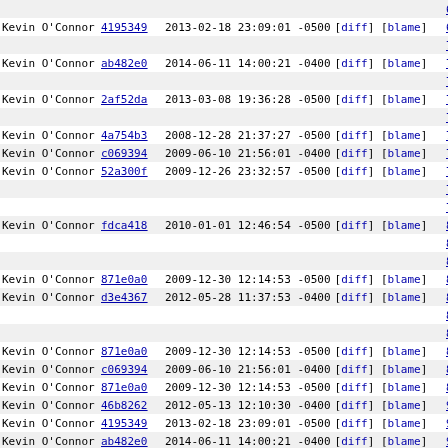| author | commit | date | links | line | code |
| --- | --- | --- | --- | --- | --- |
|  |  |  |  | 68 | # d |
| Kevin O'Connor | 4195349 | 2013-02-18 23:09:01 -0500 | [diff] [blame] | 69 | //  |
|  |  |  |  | 70 | # d |
| Kevin O'Connor | ab482e0 | 2014-06-11 14:00:21 -0400 | [diff] [blame] | 71 | //  |
|  |  |  |  | 72 | # d |
| Kevin O'Connor | 2af52da | 2013-03-08 19:36:28 -0500 | [diff] [blame] | 73 | //  |
|  |  |  |  | 74 | # d |
| Kevin O'Connor | 4a754b3 | 2008-12-28 21:37:27 -0500 | [diff] [blame] | 75 | //  |
| Kevin O'Connor | c069394 | 2009-06-10 21:56:01 -0400 | [diff] [blame] | 76 | # d |
| Kevin O'Connor | 52a300f | 2009-12-26 23:32:57 -0500 | [diff] [blame] | 77 | //  |
|  |  |  |  | 78 | # d |
|  |  |  |  | 79 | //  |
| Kevin O'Connor | fdca418 | 2010-01-01 12:46:54 -0500 | [diff] [blame] | 80 | # d |
|  |  |  |  | 81 | # d |
|  |  |  |  | 82 | # d |
| Kevin O'Connor | 871e0a0 | 2009-12-30 12:14:53 -0500 | [diff] [blame] | 83 | #e1 |
| Kevin O'Connor | d3e4367 | 2012-05-28 11:37:53 -0400 | [diff] [blame] | 84 | # d |
|  |  |  |  | 85 | # d |
|  |  |  |  | 86 | # d |
| Kevin O'Connor | 871e0a0 | 2009-12-30 12:14:53 -0500 | [diff] [blame] | 87 | # d |
| Kevin O'Connor | c069394 | 2009-06-10 21:56:01 -0400 | [diff] [blame] | 88 | # d |
| Kevin O'Connor | 871e0a0 | 2009-12-30 12:14:53 -0500 | [diff] [blame] | 89 | # d |
| Kevin O'Connor | 46b8262 | 2012-05-13 12:10:30 -0400 | [diff] [blame] | 90 | # d |
| Kevin O'Connor | 4195349 | 2013-02-18 23:09:01 -0500 | [diff] [blame] | 91 | # d |
| Kevin O'Connor | ab482e0 | 2014-06-11 14:00:21 -0400 | [diff] [blame] | 92 | # d |
| Kevin O'Connor | 2af52da | 2013-03-08 19:36:28 -0500 | [diff] [blame] | 93 | # d |
| Kevin O'Connor | 871e0a0 | 2009-12-30 12:14:53 -0500 | [diff] [blame] | 94 | # d |